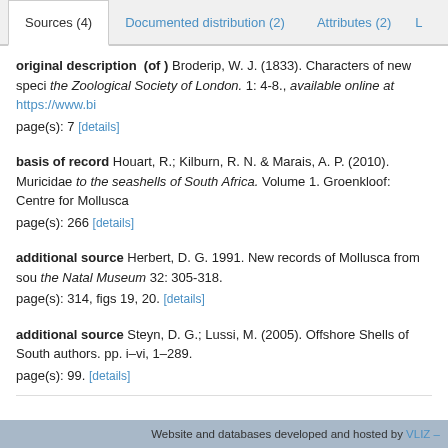Sources (4) | Documented distribution (2) | Attributes (2) | L
original description (of ) Broderip, W. J. (1833). Characters of new speci the Zoological Society of London. 1: 4-8., available online at https://www.bi page(s): 7 [details]
basis of record Houart, R.; Kilburn, R. N. & Marais, A. P. (2010). Muricidae to the seashells of South Africa. Volume 1. Groenkloof: Centre for Mollusca page(s): 266 [details]
additional source Herbert, D. G. 1991. New records of Mollusca from sou the Natal Museum 32: 305-318. page(s): 314, figs 19, 20. [details]
additional source Steyn, D. G.; Lussi, M. (2005). Offshore Shells of South authors. pp. i–vi, 1–289. page(s): 99. [details]
Website and databases developed and hosted by VLIZ –